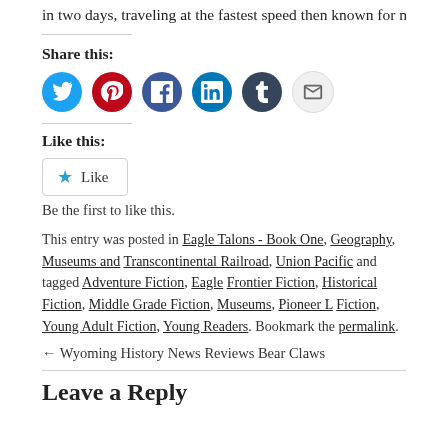in two days, traveling at the fastest speed then known for man–f
Share this:
[Figure (infographic): Row of social media sharing icon buttons: Twitter (blue), Pinterest (red), Facebook (blue), LinkedIn (dark blue), Tumblr (dark navy), Email (light gray)]
Like this:
[Figure (infographic): WordPress Like button with star icon]
Be the first to like this.
This entry was posted in Eagle Talons - Book One, Geography, Museums and Transcontinental Railroad, Union Pacific and tagged Adventure Fiction, Eagle Frontier Fiction, Historical Fiction, Middle Grade Fiction, Museums, Pioneer L Fiction, Young Adult Fiction, Young Readers. Bookmark the permalink.
← Wyoming History News Reviews Bear Claws
Leave a Reply